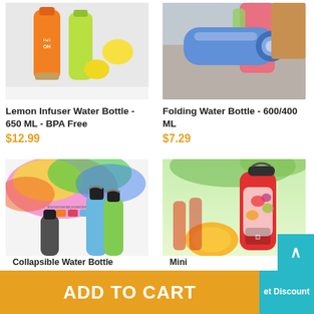[Figure (photo): Lemon Infuser Water Bottle product photo showing orange and green bottles with lemons]
[Figure (photo): Folding Water Bottle product photo showing blue collapsible bottle on textured surface]
Lemon Infuser Water Bottle - 650 ML - BPA Free
$12.99
Folding Water Bottle - 600/400 ML
$7.29
[Figure (photo): Collapsible Water Bottle product photo showing colorful powder explosion and blue/green bottles]
[Figure (photo): Mini blender/juicer product photo showing red bottle with fruits]
Collapsible Water Bottle
Mini
ADD TO CART
et Discount